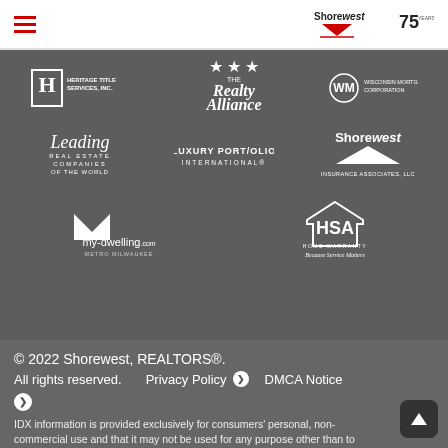Shorewest REALTORS navigation bar with hamburger menu and logo
[Figure (logo): Heritage Title Services Inc logo]
[Figure (logo): The Realty Alliance logo with stars]
[Figure (logo): WM Wisconsin Mortgage Corporation logo]
[Figure (logo): Leading Real Estate Companies of the World logo]
[Figure (logo): Luxury Portfolio International logo]
[Figure (logo): Shorewest Insurance Associates LLC logo]
[Figure (logo): my-dwelling.com Metro Milwaukee logo]
[Figure (logo): HSA Home Warranty Because Service Matters logo]
© 2022 Shorewest, REALTORS®.
All rights reserved.    Privacy Policy ❯    DMCA Notice ❯
IDX information is provided exclusively for consumers' personal, non-commercial use and that it may not be used for any purpose other than to identify prospective properties consumers may be interested in purchasing.